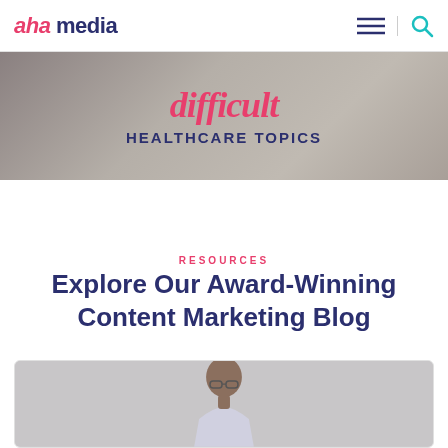aha media
[Figure (photo): Banner image with text 'difficult HEALTHCARE TOPICS' in pink/navy on a muted background]
RESOURCES
Explore Our Award-Winning Content Marketing Blog
[Figure (photo): Card with photo of a man wearing glasses, partially visible]